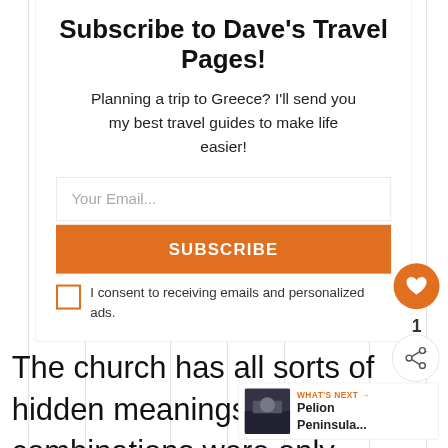Subscribe to Dave's Travel Pages!
Planning a trip to Greece? I'll send you my best travel guides to make life easier!
Your Email...
SUBSCRIBE
I consent to receiving emails and personalized ads.
1
The church has all sorts of hidden meanings and combinations were only there for less than half
WHAT'S NEXT → Pelion Peninsula...